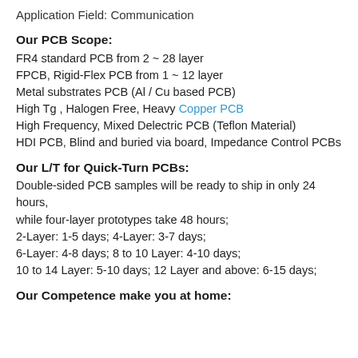Application Field: Communication
Our PCB Scope:
FR4 standard PCB from 2 ~ 28 layer
FPCB, Rigid-Flex PCB from 1 ~ 12 layer
Metal substrates PCB (Al / Cu based PCB)
High Tg , Halogen Free, Heavy Copper PCB
High Frequency, Mixed Delectric PCB (Teflon Material)
HDI PCB, Blind and buried via board, Impedance Control PCBs
Our L/T for Quick-Turn PCBs:
Double-sided PCB samples will be ready to ship in only 24 hours,
while four-layer prototypes take 48 hours;
2-Layer: 1-5 days; 4-Layer: 3-7 days;
6-Layer: 4-8 days; 8 to 10 Layer: 4-10 days;
10 to 14 Layer: 5-10 days; 12 Layer and above: 6-15 days;
Our Competence make you at home: